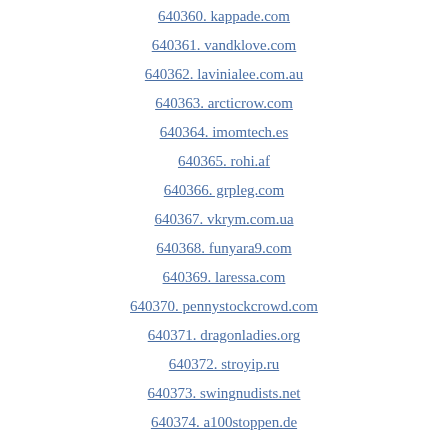640360. kappade.com
640361. vandklove.com
640362. lavinialee.com.au
640363. arcticrow.com
640364. imomtech.es
640365. rohi.af
640366. grpleg.com
640367. vkrym.com.ua
640368. funyara9.com
640369. laressa.com
640370. pennystockcrowd.com
640371. dragonladies.org
640372. stroyip.ru
640373. swingnudists.net
640374. a100stoppen.de